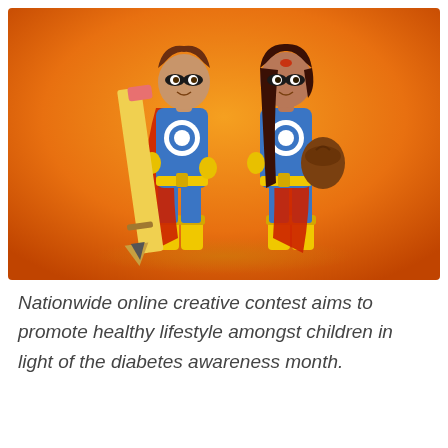[Figure (illustration): Two cartoon superhero children dressed in blue and red superhero costumes with capes and masks. The boy on the left holds a large pencil, and the girl on the right holds a brown bag/pouch. Both wear yellow gloves and boots. The background is an orange-to-yellow gradient.]
Nationwide online creative contest aims to promote healthy lifestyle amongst children in light of the diabetes awareness month.